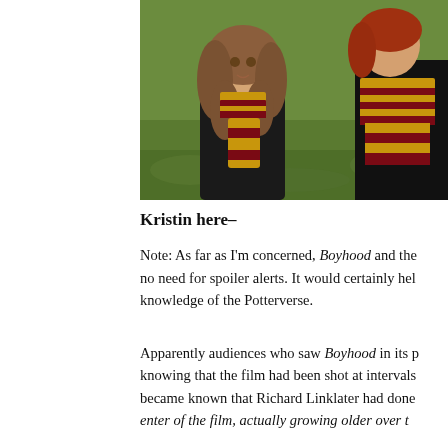[Figure (photo): Photo of two children in Hogwarts robes and scarves (Gryffindor colors — gold and dark red stripes) standing outdoors on grass. The girl on the left has long bushy brown hair and wears the scarf around her neck. A boy is partially visible on the right also wearing a striped scarf.]
Kristin here–
Note: As far as I'm concerned, Boyhood and the no need for spoiler alerts. It would certainly hel knowledge of the Potterverse.
Apparently audiences who saw Boyhood in its p knowing that the film had been shot at intervals became known that Richard Linklater had done enter of the film, actually growing older over t